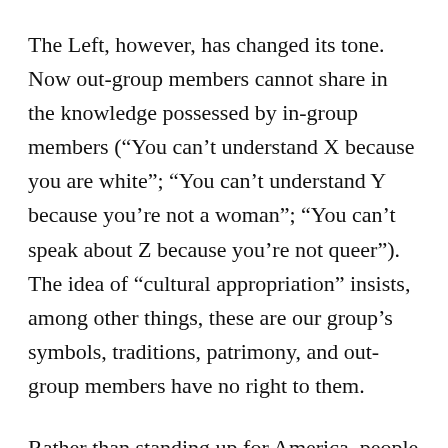The Left, however, has changed its tone. Now out-group members cannot share in the knowledge possessed by in-group members (“You can’t understand X because you are white”; “You can’t understand Y because you’re not a woman”; “You can’t speak about Z because you’re not queer”). The idea of “cultural appropriation” insists, among other things, these are our group’s symbols, traditions, patrimony, and out-group members have no right to them.
Rather than standing up for America, people are standing up for their particular sub-group. Rather than allegiance to the common good, allegiance...